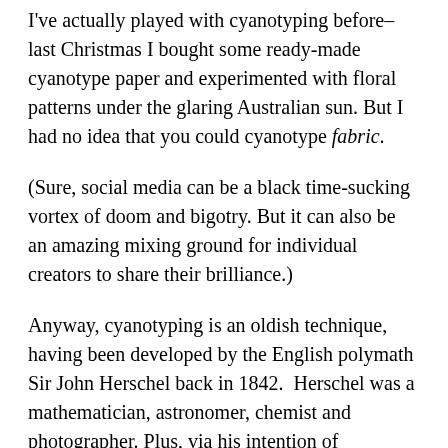I've actually played with cyanotyping before–last Christmas I bought some ready-made cyanotype paper and experimented with floral patterns under the glaring Australian sun. But I had no idea that you could cyanotype fabric.
(Sure, social media can be a black time-sucking vortex of doom and bigotry. But it can also be an amazing mixing ground for individual creators to share their brilliance.)
Anyway, cyanotyping is an oldish technique, having been developed by the English polymath Sir John Herschel back in 1842.  Herschel was a mathematician, astronomer, chemist and photographer. Plus, via his intention of cyanotyping, he also became the inventor of blueprints.